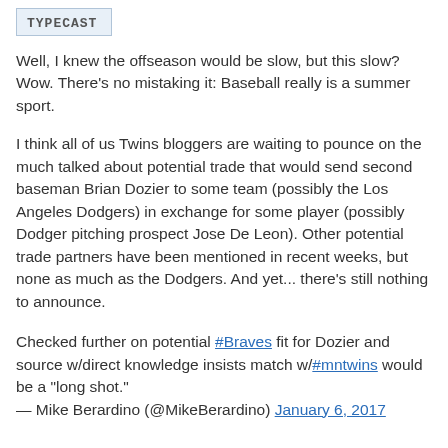TYPECAST
Well, I knew the offseason would be slow, but this slow? Wow. There's no mistaking it: Baseball really is a summer sport.
I think all of us Twins bloggers are waiting to pounce on the much talked about potential trade that would send second baseman Brian Dozier to some team (possibly the Los Angeles Dodgers) in exchange for some player (possibly Dodger pitching prospect Jose De Leon). Other potential trade partners have been mentioned in recent weeks, but none as much as the Dodgers. And yet... there's still nothing to announce.
Checked further on potential #Braves fit for Dozier and source w/direct knowledge insists match w/#mntwins would be a "long shot."
— Mike Berardino (@MikeBerardino) January 6, 2017